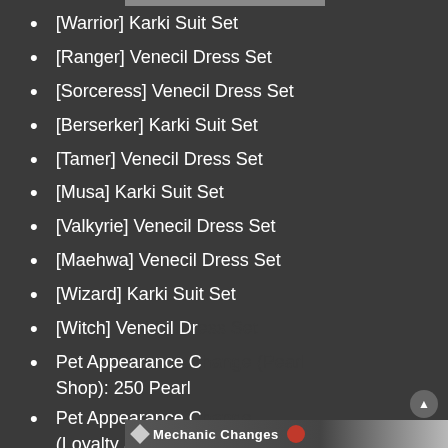[Warrior] Karki Suit Set
[Ranger] Venecil Dress Set
[Sorceress] Venecil Dress Set
[Berserker] Karki Suit Set
[Tamer] Venecil Dress Set
[Musa] Karki Suit Set
[Valkyrie] Venecil Dress Set
[Maehwa] Venecil Dress Set
[Wizard] Karki Suit Set
[Witch] Venecil Dress Set
Pet Appearance Change (Pearl Shop): 250 Pearl
Pet Appearance Change (Loyalty Shop): 1400 Loyalty Point
[Figure (screenshot): Destiny 2 Moth Locations video ad overlay with MW logo, play button, and two characters in action pose]
Mechanic Changes